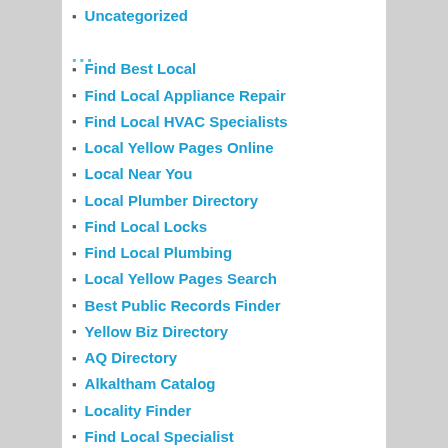Uncategorized
Find Best Local
Find Local Appliance Repair
Find Local HVAC Specialists
Local Yellow Pages Online
Local Near You
Local Plumber Directory
Find Local Locks
Find Local Plumbing
Local Yellow Pages Search
Best Public Records Finder
Yellow Biz Directory
AQ Directory
Alkaltham Catalog
Locality Finder
Find Local Specialist
AQPAGES
Find Local Electric
Find Local Towing
Find Local Repair